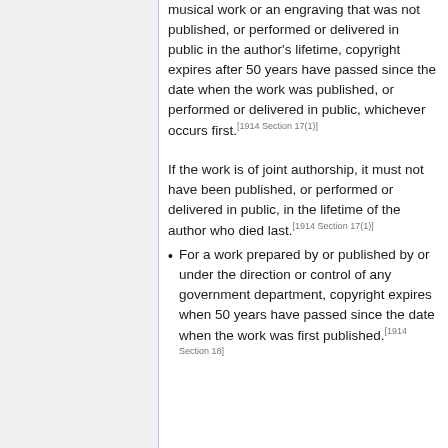musical work or an engraving that was not published, or performed or delivered in public in the author's lifetime, copyright expires after 50 years have passed since the date when the work was published, or performed or delivered in public, whichever occurs first.[1914 Section 17(1)] If the work is of joint authorship, it must not have been published, or performed or delivered in public, in the lifetime of the author who died last.[1914 Section 17(1)]
For a work prepared by or published by or under the direction or control of any government department, copyright expires when 50 years have passed since the date when the work was first published.[1914 Section 18]